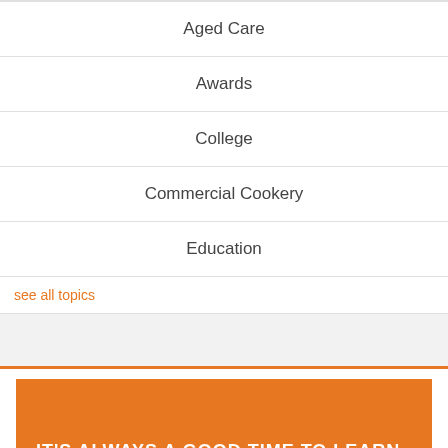Aged Care
Awards
College
Commercial Cookery
Education
see all topics
IT'S ALWAYS A GOOD TIME TO LEARN